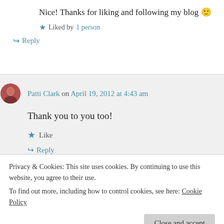Nice! Thanks for liking and following my blog 🙂
★ Liked by 1 person
↪ Reply
Patti Clark on April 19, 2012 at 4:43 am
Thank you to you too!
★ Like
↪ Reply
Privacy & Cookies: This site uses cookies. By continuing to use this website, you agree to their use.
To find out more, including how to control cookies, see here: Cookie Policy
Close and accept
to blog and share your insightful thoughts.